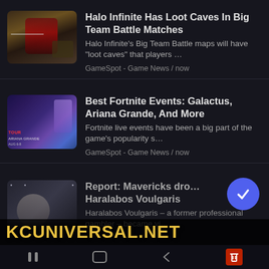[Figure (screenshot): Thumbnail of Halo Infinite game scene]
Halo Infinite Has Loot Caves In Big Team Battle Matches
Halo Infinite's Big Team Battle maps will have "loot caves" that players …
GameSpot - Game News / now
[Figure (screenshot): Thumbnail of Fortnite Ariana Grande event art]
Best Fortnite Events: Galactus, Ariana Grande, And More
Fortnite live events have been a big part of the game's popularity s…
GameSpot - Game News / now
[Figure (screenshot): Thumbnail of Mavericks press conference]
Report: Mavericks dro… Haralabos Voulgaris
Haralabos Voulgaris – a former professional gambler – became vi…
KCUNIVERSAL.NET
Navigation bar